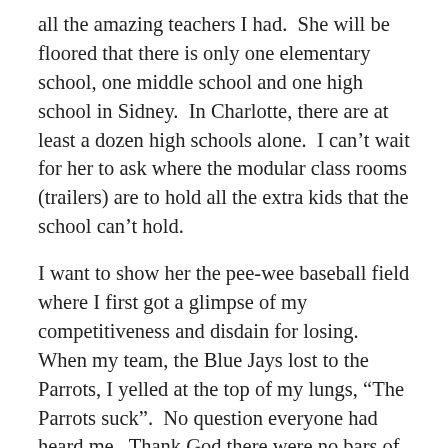all the amazing teachers I had.  She will be floored that there is only one elementary school, one middle school and one high school in Sidney.  In Charlotte, there are at least a dozen high schools alone.  I can't wait for her to ask where the modular class rooms (trailers) are to hold all the extra kids that the school can't hold.
I want to show her the pee-wee baseball field where I first got a glimpse of my competitiveness and disdain for losing.  When my team, the Blue Jays lost to the Parrots, I yelled at the top of my lungs, “The Parrots suck”.  No question everyone had heard me.  Thank God there were no bars of Lava soap at my house.  I think my Mom settled on a bar of Dial.